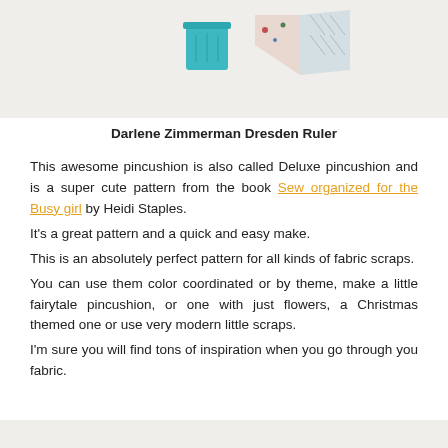[Figure (photo): Top portion of an image showing sewing/quilting items including a teal container and patterned fabric pieces on a light beige background]
Darlene Zimmerman Dresden Ruler
This awesome pincushion is also called Deluxe pincushion and is a super cute pattern from the book Sew organized for the Busy girl by Heidi Staples.
It's a great pattern and a quick and easy make.
This is an absolutely perfect pattern for all kinds of fabric scraps.
You can use them color coordinated or by theme, make a little fairytale pincushion, or one with just flowers, a Christmas themed one or use very modern little scraps.
I'm sure you will find tons of inspiration when you go through you fabric.
[Figure (photo): Bottom partial image showing sewing/quilting items on a light beige background]